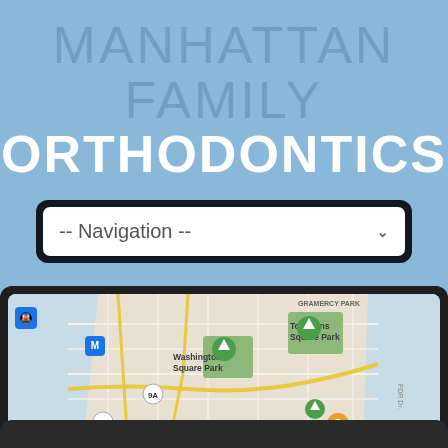MANHATTAN FAMILY ORTHODONTICS
[Figure (screenshot): Navigation dropdown selector with dark border showing '-- Navigation --' placeholder text]
[Figure (map): Google Maps screenshot showing lower Manhattan area with Washington Square Park, Tompkins Square Park, SOHO, Katz's Delicatessen, FDR Drive, and route markers 9A and 78]
[Figure (screenshot): Bottom partial dark panel/device frame]